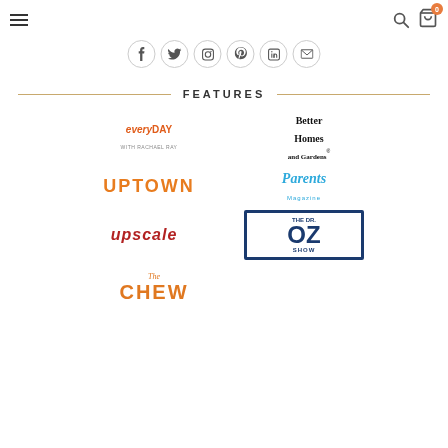Navigation header with hamburger menu, search icon, and cart icon
[Figure (infographic): Row of social media icon buttons: Facebook, Twitter, Instagram, Pinterest, LinkedIn, Email]
FEATURES
[Figure (logo): Grid of media feature logos: Everyday with Rachael Ray, Better Homes and Gardens, UPTOWN, Parents Magazine, upscale, The Chew, The Dr. Oz Show]